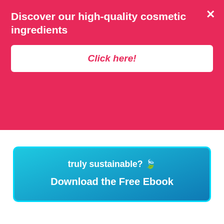Discover our high-quality cosmetic ingredients
Click here!
truly sustainable? 🌿
Download the Free Ebook
This website stores cookies on your computer. These cookies are used to collect information about how you interact with our website and allow us to remember you. We use this information in order to improve and customize your browsing experience and for analytics and metrics about our visitors both on this website and other media. To find out more about the cookies we use, see our Cookies Policy.
Accept